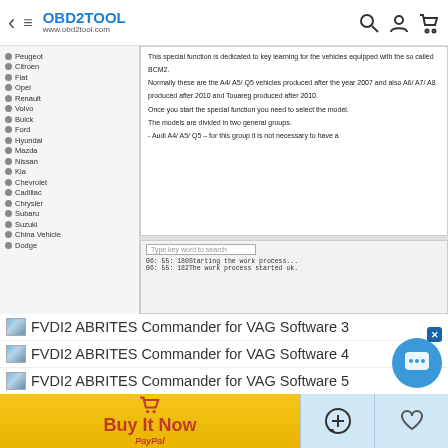OBD2TOOL www.obd2tool.com
[Figure (screenshot): Screenshot of FVDI2 ABRITES Commander software interface showing vehicle brand list on left (Peugeot, Citroen, Fiat, Opel, Renault, Volvo, Buick, Ford, Hyundai, Mazda, Nissan, Kia, Chevrolet, Cadillac, Chrysler, Subaru, Suzuki, China Vehicle, Dodge) and information panel on right describing BCM2 key learning special function for VAG vehicles including A4/A5/Q5 and A6/A7/A8, with log output showing 'Starting the work process' and 'The work process started ok']
FVDI2 ABRITES Commander for VAG Software 3
FVDI2 ABRITES Commander for VAG Software 4
FVDI2 ABRITES Commander for VAG Software 5
FVDI2 ABRITES Commander for VAG Software 6
FVDI2 ABRITES Commander for VAG Software 7
Package List:
1pc x Interface
1pc x OBD-16 Cable
1pc x USB 2.0 Cable
1pc x TAG Key Tool
Buy It Now | PayPal